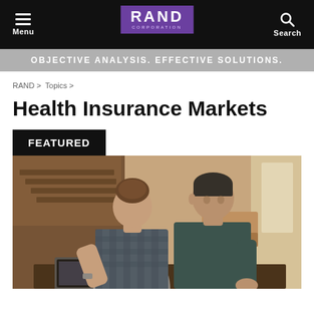Menu | RAND CORPORATION | Search
OBJECTIVE ANALYSIS. EFFECTIVE SOLUTIONS.
RAND > Topics >
Health Insurance Markets
FEATURED
[Figure (photo): A young woman and man sitting at a table looking at a laptop together, reviewing documents in a home or cafe setting.]